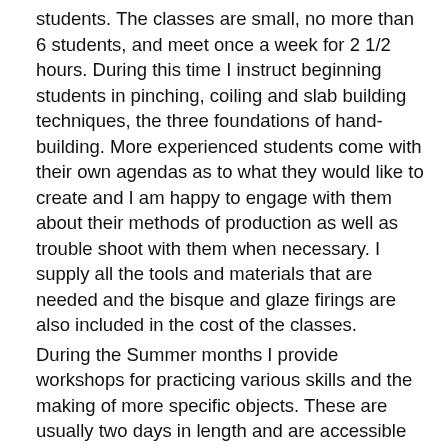students. The classes are small, no more than 6 students, and meet once a week for 2 1/2 hours. During this time I instruct beginning students in pinching, coiling and slab building techniques, the three foundations of hand-building. More experienced students come with their own agendas as to what they would like to create and I am happy to engage with them about their methods of production as well as trouble shoot with them when necessary. I supply all the tools and materials that are needed and the bisque and glaze firings are also included in the cost of the classes.
During the Summer months I provide workshops for practicing various skills and the making of more specific objects. These are usually two days in length and are accessible for visitors and locals alike.
It's always a joy for me to see what people decide to create, and probably the best part for me is all I learn from working with my students. I love to see the new ways my students uncover for approaching the clay in front of them and creating something new, personal and innovative.
For more information about coming classes in 2022 please email